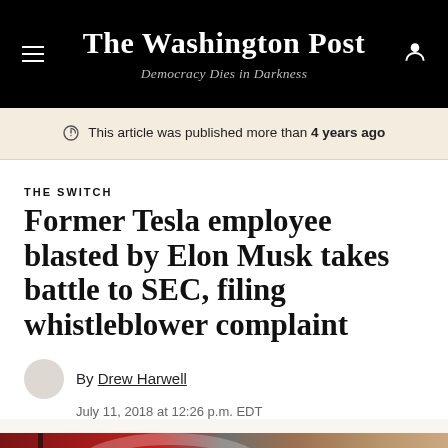The Washington Post — Democracy Dies in Darkness
This article was published more than 4 years ago
THE SWITCH
Former Tesla employee blasted by Elon Musk takes battle to SEC, filing whistleblower complaint
By Drew Harwell
July 11, 2018 at 12:26 p.m. EDT
[Figure (photo): Partial photo showing red and brown colored background, bottom of article page]